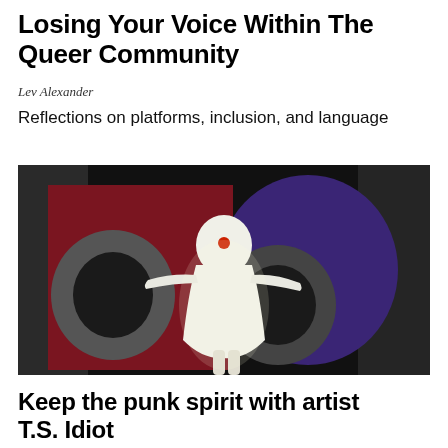Losing Your Voice Within The Queer Community
Lev Alexander
Reflections on platforms, inclusion, and language
[Figure (photo): A person wearing a white ghost-like costume with arms outstretched, standing in front of a colorful graphic background featuring large circular shapes in red, grey, blue/purple, and black tones.]
Keep the punk spirit with artist T.S. Idiot